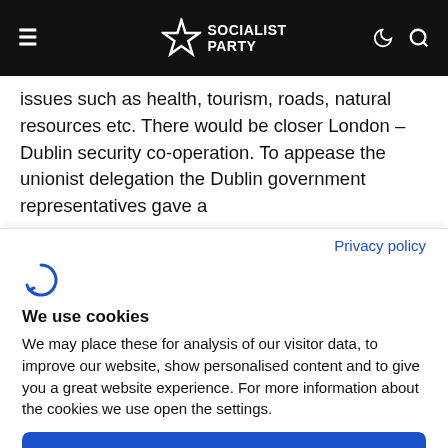Socialist Party
issues such as health, tourism, roads, natural resources etc. There would be closer London – Dublin security co-operation. To appease the unionist delegation the Dublin government representatives gave a
Privacy policy
[Figure (logo): Cookiebot logo — circular arrow icon in blue]
We use cookies
We may place these for analysis of our visitor data, to improve our website, show personalised content and to give you a great website experience. For more information about the cookies we use open the settings.
Accept all
Deny
No, adjust